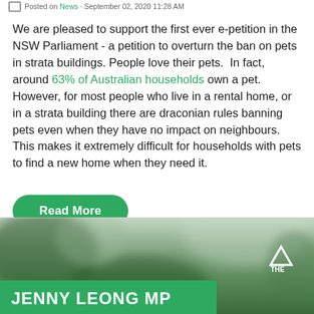Posted on News · September 02, 2020 11:28 AM
We are pleased to support the first ever e-petition in the NSW Parliament - a petition to overturn the ban on pets in strata buildings. People love their pets.  In fact, around 63% of Australian households own a pet. However, for most people who live in a rental home, or in a strata building there are draconian rules banning pets even when they have no impact on neighbours.  This makes it extremely difficult for households with pets to find a new home when they need it.
Read More
[Figure (photo): Blurred outdoor photo with green foliage background, showing a green banner with 'JENNY LEONG MP' in white bold text at the bottom left, and a green triangle logo at bottom right with 'THE' text.]